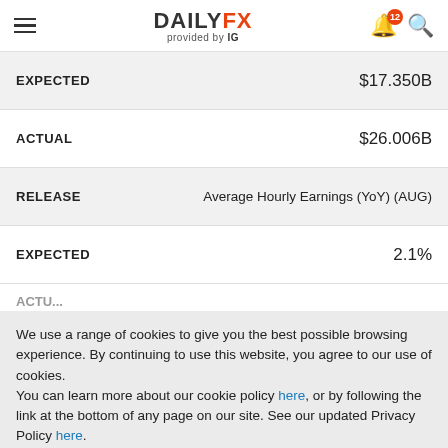DAILYFX provided by IG
| Label | Value |
| --- | --- |
| EXPECTED | $17.350B |
| ACTUAL | $26.006B |
| RELEASE | Average Hourly Earnings (YoY) (AUG) |
| EXPECTED | 2.1% |
We use a range of cookies to give you the best possible browsing experience. By continuing to use this website, you agree to our use of cookies.
You can learn more about our cookie policy here, or by following the link at the bottom of any page on our site. See our updated Privacy Policy here.
Accept